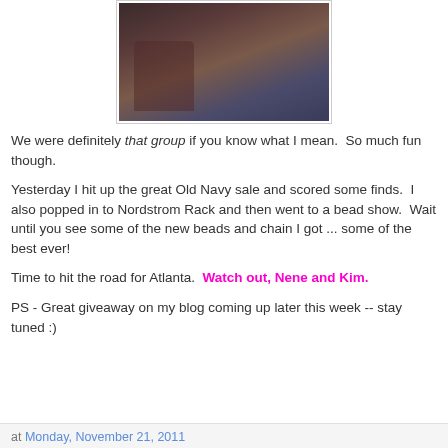[Figure (photo): Group of people sitting around a restaurant/bar table, smiling and having fun. Dark ambiance with drinks and food on the table.]
We were definitely that group if you know what I mean.  So much fun though.
Yesterday I hit up the great Old Navy sale and scored some finds.  I also popped in to Nordstrom Rack and then went to a bead show.  Wait until you see some of the new beads and chain I got ... some of the best ever!
Time to hit the road for Atlanta.  Watch out, Nene and Kim.
PS - Great giveaway on my blog coming up later this week -- stay tuned :)
at Monday, November 21, 2011